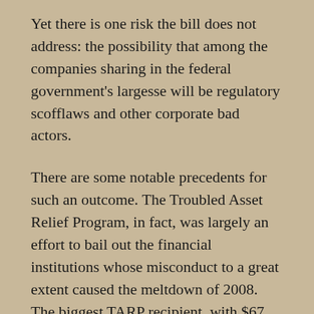Yet there is one risk the bill does not address: the possibility that among the companies sharing in the federal government's largesse will be regulatory scofflaws and other corporate bad actors.
There are some notable precedents for such an outcome. The Troubled Asset Relief Program, in fact, was largely an effort to bail out the financial institutions whose misconduct to a great extent caused the meltdown of 2008. The biggest TARP recipient, with $67 billion in support from the Treasury Department, was American International Group, which had sold large quantities of risky credit default swaps. Other giant banks that helped generate toxic securities, and which got TARP bail-li